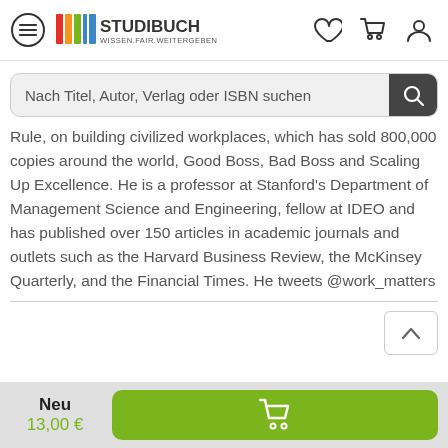[Figure (logo): Studibuch logo with colored book spine icons and text STUDIBUCH WISSEN.FAIR.WEITERGEBEN]
Nach Titel, Autor, Verlag oder ISBN suchen
Rule, on building civilized workplaces, which has sold 800,000 copies around the world, Good Boss, Bad Boss and Scaling Up Excellence. He is a professor at Stanford's Department of Management Science and Engineering, fellow at IDEO and has published over 150 articles in academic journals and outlets such as the Harvard Business Review, the McKinsey Quarterly, and the Financial Times. He tweets @work_matters
Neu 13,00 €